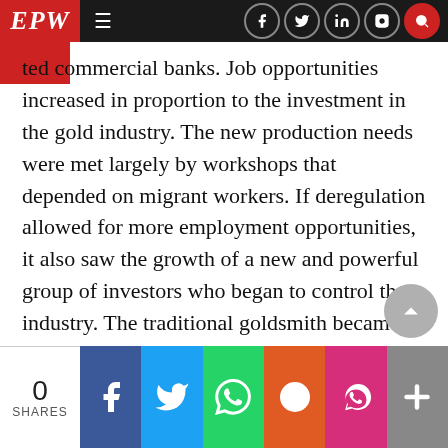EPW — navigation bar with hamburger menu and social icons
ted commercial banks. Job opportunities increased in proportion to the investment in the gold industry. The new production needs were met largely by workshops that depended on migrant workers. If deregulation allowed for more employment opportunities, it also saw the growth of a new and powerful group of investors who began to control the industry. The traditional goldsmith became a rare entity. Gold retail houses have mushroomed within the state and have pursued an active expansion path outside the country, catering primarily to emigrants from India. The place of the artisan was redefined a
0 SHARES | Facebook | Twitter | WhatsApp | Reddit | Pocket | More